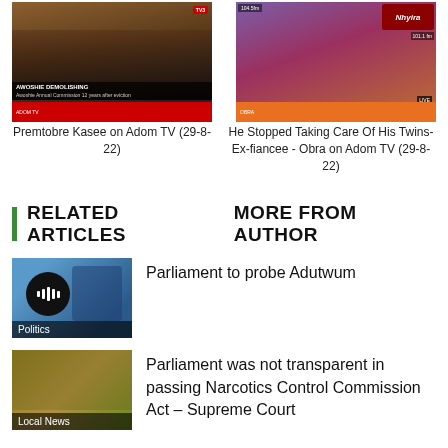[Figure (screenshot): Video thumbnail: Premtobre Kasee on Adom TV showing people at a political event with red overlay bar at bottom]
Premtobre Kasee on Adom TV (29-8-22)
[Figure (screenshot): Video thumbnail: He Stopped Taking Care Of His Twins show, woman in blue dress on orange/brown background with Adom/Nhyira TV logo]
He Stopped Taking Care Of His Twins- Ex-fiancee - Obra on Adom TV (29-8-22)
RELATED ARTICLES   MORE FROM AUTHOR
[Figure (screenshot): Article thumbnail with play button showing a man in suit, blue background, labeled Politics]
Parliament to probe Adutwum
[Figure (screenshot): Article thumbnail showing cannabis/narcotics, labeled Local News]
Parliament was not transparent in passing Narcotics Control Commission Act – Supreme Court